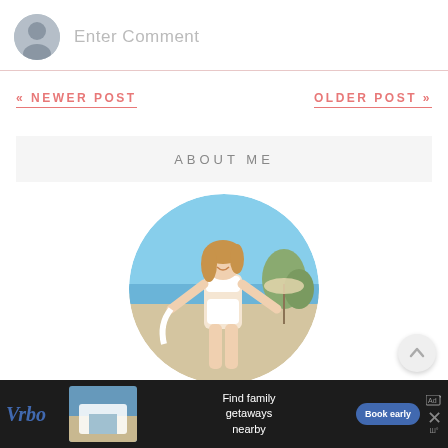Enter Comment
« NEWER POST
OLDER POST »
ABOUT ME
[Figure (photo): Circular profile photo of a young woman in a white bikini smiling on a beach]
[Figure (other): Vrbo advertisement banner: Find family getaways nearby, Book early button]